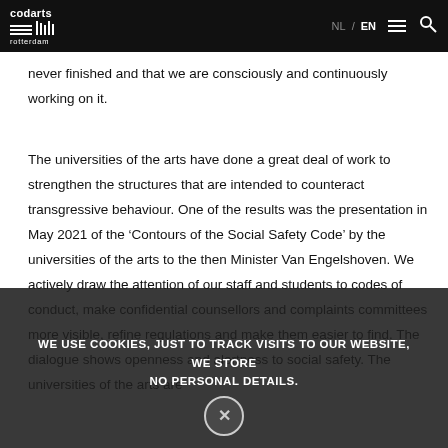codarts rotterdam — NL / EN [navigation]
never finished and that we are consciously and continuously working on it.
The universities of the arts have done a great deal of work to strengthen the structures that are intended to counteract transgressive behaviour. One of the results was the presentation in May 2021 of the ‘Contours of the Social Safety Code’ by the universities of the arts to the then Minister Van Engelshoven. We actively draw the attention of our staff and students to codes of conduct, make confidential counsellors and complaints committees more visible, refine regulations and make them easier to find. The dialogue shows openness and alertness to social safety. The universities of the arts are
WE USE COOKIES, JUST TO TRACK VISITS TO OUR WEBSITE, WE STORE NO PERSONAL DETAILS.